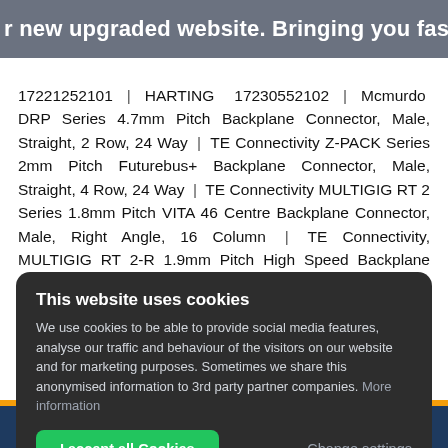r new upgraded website. Bringing you faster se:
17221252101 | HARTING 17230552102 | Mcmurdo DRP Series 4.7mm Pitch Backplane Connector, Male, Straight, 2 Row, 24 Way | TE Connectivity Z-PACK Series 2mm Pitch Futurebus+ Backplane Connector, Male, Straight, 4 Row, 24 Way | TE Connectivity MULTIGIG RT 2 Series 1.8mm Pitch VITA 46 Centre Backplane Connector, Male, Right Angle, 16 Column | TE Connectivity, MULTIGIG RT 2-R 1.9mm Pitch High Speed Backplane Connector, Male,
This website uses cookies
We use cookies to be able to provide social media features, analyse our traffic and behaviour of the visitors on our website and for marketing purposes. Sometimes we share this anonymised information to 3rd party partner companies. More information